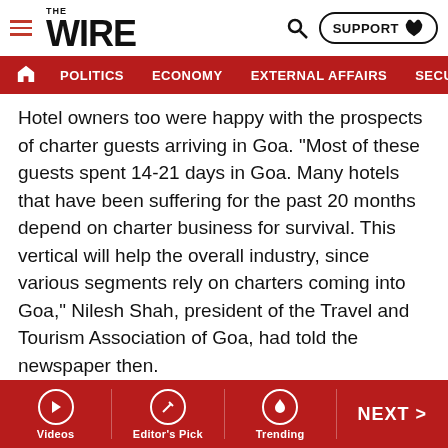THE WIRE — POLITICS | ECONOMY | EXTERNAL AFFAIRS | SECU...
Hotel owners too were happy with the prospects of charter guests arriving in Goa. “Most of these guests spent 14-21 days in Goa. Many hotels that have been suffering for the past 20 months depend on charter business for survival. This vertical will help the overall industry, since various segments rely on charters coming into Goa,” Nilesh Shah, president of the Travel and Tourism Association of Goa, had told the newspaper then.
Foreign tourists are an important part of Goa’s tourism industry. Without them in the last two years, the hospitality sector in the state has faced difficulties. While hopes were high with the renewal of charter flights, the Russian
Videos | Editor’s Pick | Trending | NEXT >